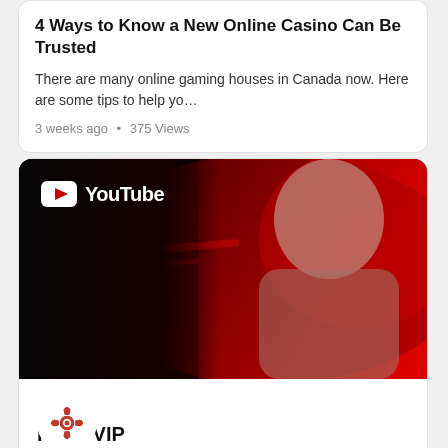4 Ways to Know a New Online Casino Can Be Trusted
There are many online gaming houses in Canada now. Here are some tips to help yo…
3 weeks ago  •  375 Views
[Figure (screenshot): YouTube channel card for PokerVIP showing a thumbnail with a man wearing glasses in front of a red background, the YouTube logo in the top-left, and channel info below including a gear icon, channel name PokerVIP, 21.4K Subscribers, and a Subscribe button.]